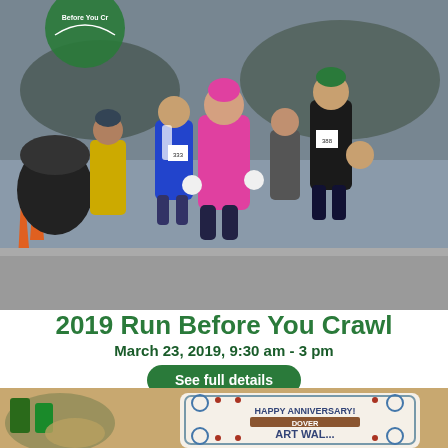[Figure (photo): Crowd of runners at the start of the 2019 Run Before You Crawl 5K race, wearing colorful cold-weather running gear including a prominent pink jacket and green shirts. Orange traffic cones visible on the left. A green circular logo banner visible at top left.]
2019 Run Before You Crawl
March 23, 2019, 9:30 am - 3 pm
See full details
[Figure (photo): Close-up photo of a decorated anniversary cake on a table with a vegetable platter visible on the left. The cake reads 'HAPPY ANNIVERSARY! DOVER ART WALK FIRST...' with blue decorative icing scrollwork.]